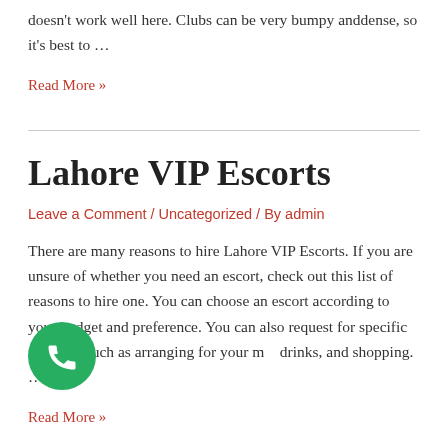doesn't work well here. Clubs can be very bumpy anddense, so it's best to …
Read More »
Lahore VIP Escorts
Leave a Comment / Uncategorized / By admin
There are many reasons to hire Lahore VIP Escorts. If you are unsure of whether you need an escort, check out this list of reasons to hire one. You can choose an escort according to your budget and preference. You can also request for specific services, such as arranging for your m… drinks, and shopping. …
Read More »